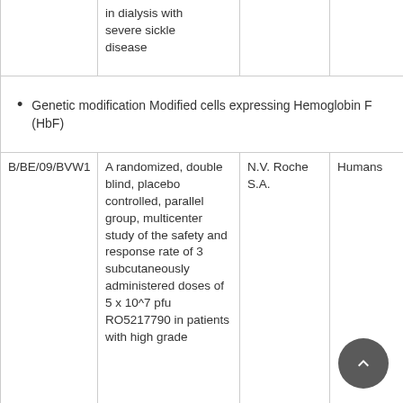|  |  |  |  |
| --- | --- | --- | --- |
|  | in dialysis with severe sickle disease |  |  |
| [bullet] Genetic modification Modified cells expressing Hemoglobin F (HbF) |  |  |  |
| B/BE/09/BVW1 | A randomized, double blind, placebo controlled, parallel group, multicenter study of the safety and response rate of 3 subcutaneously administered doses of 5 x 10^7 pfu RO5217790 in patients with high grade | N.V. Roche S.A. | Humans |